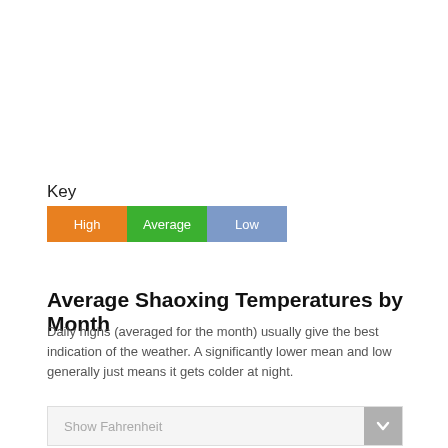Key
[Figure (infographic): Color legend with three boxes labeled High (orange), Average (green), Low (blue-grey)]
Average Shaoxing Temperatures by Month
Daily highs (averaged for the month) usually give the best indication of the weather. A significantly lower mean and low generally just means it gets colder at night.
Show Fahrenheit